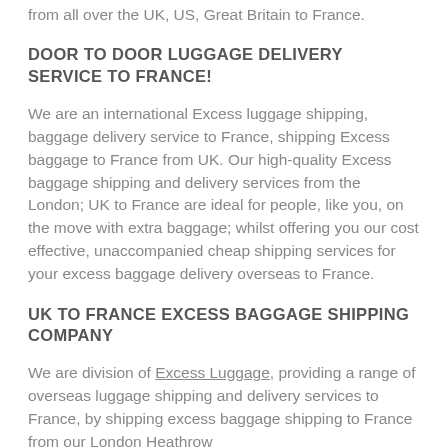from all over the UK, US, Great Britain to France.
DOOR TO DOOR LUGGAGE DELIVERY SERVICE TO FRANCE!
We are an international Excess luggage shipping, baggage delivery service to France, shipping Excess baggage to France from UK. Our high-quality Excess baggage shipping and delivery services from the London; UK to France are ideal for people, like you, on the move with extra baggage; whilst offering you our cost effective, unaccompanied cheap shipping services for your excess baggage delivery overseas to France.
UK TO FRANCE EXCESS BAGGAGE SHIPPING COMPANY
We are division of Excess Luggage, providing a range of overseas luggage shipping and delivery services to France, by shipping excess baggage shipping to France from our London Heathrow